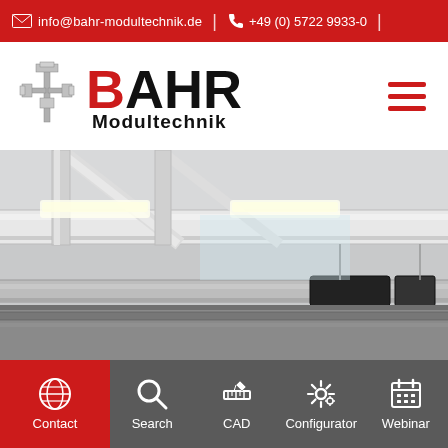info@bahr-modultechnik.de | +49 (0) 5722 9933-0
[Figure (logo): Bahr Modultechnik logo with red B and black AHR text, accompanied by a mechanical module diagram icon]
[Figure (photo): Industrial photo showing overhead linear module rail system with white aluminum extrusion profiles, lighting, and mechanical components in a manufacturing or workshop environment]
[Figure (infographic): Bottom navigation bar with 5 items: Contact (globe icon, red background), Search (magnifier icon), CAD (ruler icon), Configurator (gear icon), Webinar (calendar icon), all on dark grey background]